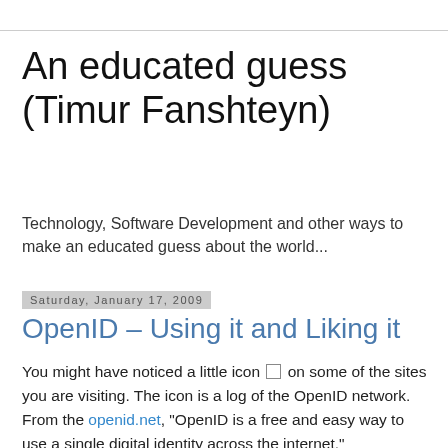An educated guess (Timur Fanshteyn)
Technology, Software Development and other ways to make an educated guess about the world...
Saturday, January 17, 2009
OpenID – Using it and Liking it
You might have noticed a little icon [icon] on some of the sites you are visiting. The icon is a log of the OpenID network. From the openid.net, "OpenID is a free and easy way to use a single digital identity across the internet."
OpenID was developed in 2005 and is now accepted by